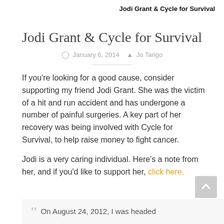Jodi Grant & Cycle for Survival
Jodi Grant & Cycle for Survival
January 6, 2014   Jo Tango
If you're looking for a good cause, consider supporting my friend Jodi Grant. She was the victim of a hit and run accident and has undergone a number of painful surgeries. A key part of her recovery was being involved with Cycle for Survival, to help raise money to fight cancer.
Jodi is a very caring individual. Here's a note from her, and if you'd like to support her, click here.
On August 24, 2012, I was headed